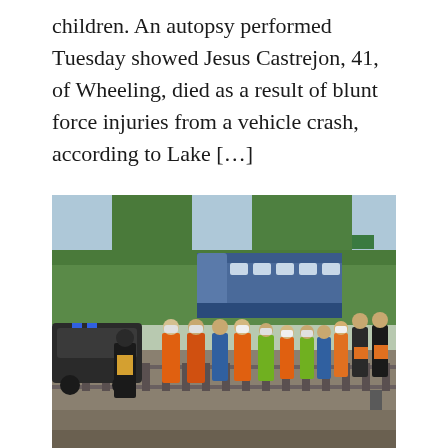children. An autopsy performed Tuesday showed Jesus Castrejon, 41, of Wheeling, died as a result of blunt force injuries from a vehicle crash, according to Lake […]
[Figure (photo): Emergency responders, construction workers in orange and yellow high-visibility vests and hard hats, and officials in blue vests stand along railroad tracks. A passenger train (Amtrak) is visible in the background surrounded by green trees. A black emergency vehicle with blue lights is on the left side. The scene depicts a train accident investigation site.]